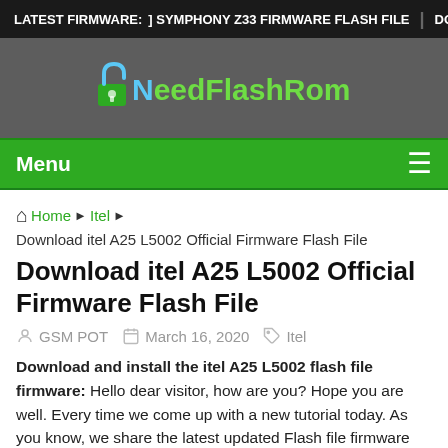LATEST FIRMWARE: ] SYMPHONY Z33 FIRMWARE FLASH FILE | DOWNL
[Figure (logo): NeedFlashRom website logo with padlock icon in teal/blue and green text]
Menu ☰
Home ▶ Itel ▶ Download itel A25 L5002 Official Firmware Flash File
Download itel A25 L5002 Official Firmware Flash File
GSM POT   March 16, 2020   Itel
Download and install the itel A25 L5002 flash file firmware: Hello dear visitor, how are you? Hope you are well. Every time we come up with a new tutorial today. As you know, we share the latest updated Flash file firmware and stock ROM on our site. So in today's tutorial I will share how to